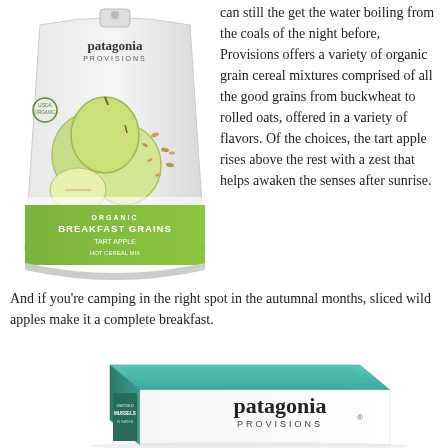[Figure (photo): Patagonia Provisions Organic Breakfast Grains tart apple flavor product bag with green apple imagery]
can still the get the water boiling from the coals of the night before, Provisions offers a variety of organic grain cereal mixtures comprised of all the good grains from buckwheat to rolled oats, offered in a variety of flavors. Of the choices, the tart apple rises above the rest with a zest that helps awaken the senses after sunrise. And if you're camping in the right spot in the autumnal months, sliced wild apples make it a complete breakfast.
[Figure (photo): Patagonia Provisions product box with teal/turquoise imagery, showing patagonia PROVISIONS branding on white box side]